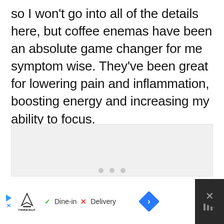so I won't go into all of the details here, but coffee enemas have been an absolute game changer for me symptom wise. They've been great for lowering pain and inflammation, boosting energy and increasing my ability to focus.
[Figure (photo): A light gray placeholder image box with three pagination dots at the bottom center]
[Figure (infographic): Advertisement bar at the bottom: white section with TopGolf logo, play button, X button, checkmark 'Dine-in', X 'Delivery', blue diamond arrow icon; dark right panel with close X and temperature icon]